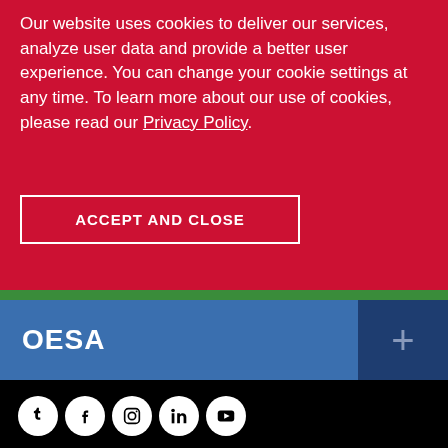Our website uses cookies to deliver our services, analyze user data and provide a better user experience. You can change your cookie settings at any time. To learn more about our use of cookies, please read our Privacy Policy.
ACCEPT AND CLOSE
OESA
PRIVACY POLICY
TERMS OF USE
SITE MAP
HEALTHPLAN PRICE TRANSPARENCY
[Figure (illustration): Social media icons row: Tumblr, Facebook, Instagram, LinkedIn, YouTube — white icons on black circular backgrounds]